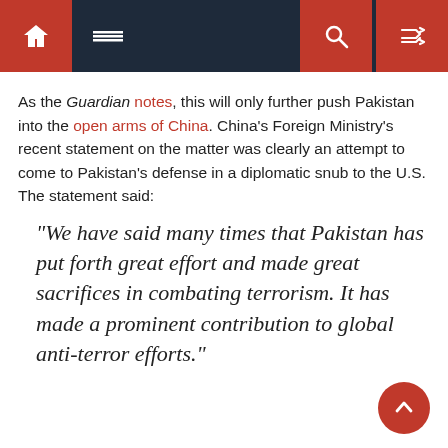Navigation bar with home, menu, search, and shuffle icons
As the Guardian notes, this will only further push Pakistan into the open arms of China. China's Foreign Ministry's recent statement on the matter was clearly an attempt to come to Pakistan's defense in a diplomatic snub to the U.S. The statement said:
“We have said many times that Pakistan has put forth great effort and made great sacrifices in combating terrorism. It has made a prominent contribution to global anti-terror efforts.”